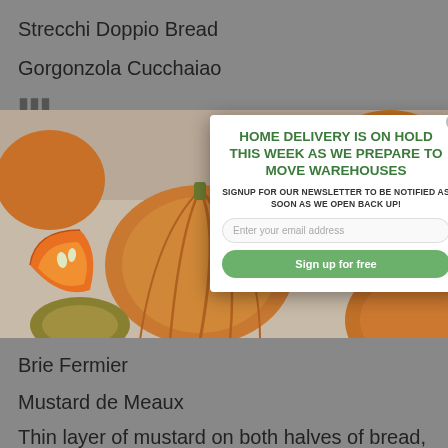Strecchi Doppio Bread
Gorgonzola Cucchaiao
[Figure (photo): Photo of pumpkins and squash on a light background, with pumpkin slices showing orange flesh, overlaid with a modal popup dialog]
HOME DELIVERY IS ON HOLD THIS WEEK AS WE PREPARE TO MOVE WAREHOUSES
SIGNUP FOR OUR NEWSLETTER TO BE NOTIFIED AS SOON AS WE OPEN BACK UP!
Brie Fermier
Mustard de Meaux
Thin layer of mustard on both halves of bread, apples stick to